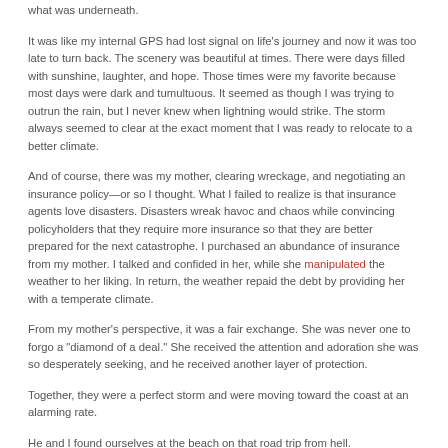what was underneath.
It was like my internal GPS had lost signal on life's journey and now it was too late to turn back. The scenery was beautiful at times. There were days filled with sunshine, laughter, and hope. Those times were my favorite because most days were dark and tumultuous. It seemed as though I was trying to outrun the rain, but I never knew when lightning would strike. The storm always seemed to clear at the exact moment that I was ready to relocate to a better climate.
And of course, there was my mother, clearing wreckage, and negotiating an insurance policy—or so I thought. What I failed to realize is that insurance agents love disasters. Disasters wreak havoc and chaos while convincing policyholders that they require more insurance so that they are better prepared for the next catastrophe. I purchased an abundance of insurance from my mother. I talked and confided in her, while she manipulated the weather to her liking. In return, the weather repaid the debt by providing her with a temperate climate.
From my mother's perspective, it was a fair exchange. She was never one to forgo a "diamond of a deal." She received the attention and adoration she was so desperately seeking, and he received another layer of protection.
Together, they were a perfect storm and were moving toward the coast at an alarming rate.
He and I found ourselves at the beach on that road trip from hell.
By that point, I was preparing to change routes and terminate my insurance